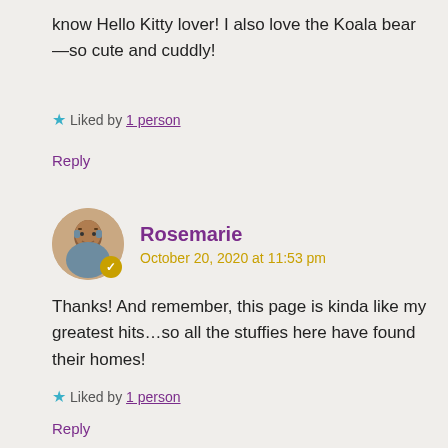know Hello Kitty lover! I also love the Koala bear—so cute and cuddly!
★ Liked by 1 person
Reply
[Figure (photo): Circular avatar photo of Rosemarie, a woman with glasses and brown hair, with a gold verified checkmark badge.]
Rosemarie
October 20, 2020 at 11:53 pm
Thanks! And remember, this page is kinda like my greatest hits…so all the stuffies here have found their homes!
★ Liked by 1 person
Reply